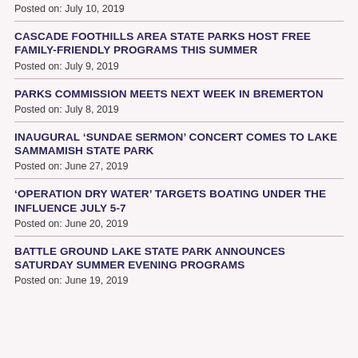Posted on: July 10, 2019
CASCADE FOOTHILLS AREA STATE PARKS HOST FREE FAMILY-FRIENDLY PROGRAMS THIS SUMMER
Posted on: July 9, 2019
PARKS COMMISSION MEETS NEXT WEEK IN BREMERTON
Posted on: July 8, 2019
INAUGURAL ‘SUNDAE SERMON’ CONCERT COMES TO LAKE SAMMAMISH STATE PARK
Posted on: June 27, 2019
‘OPERATION DRY WATER’ TARGETS BOATING UNDER THE INFLUENCE JULY 5-7
Posted on: June 20, 2019
BATTLE GROUND LAKE STATE PARK ANNOUNCES SATURDAY SUMMER EVENING PROGRAMS
Posted on: June 19, 2019